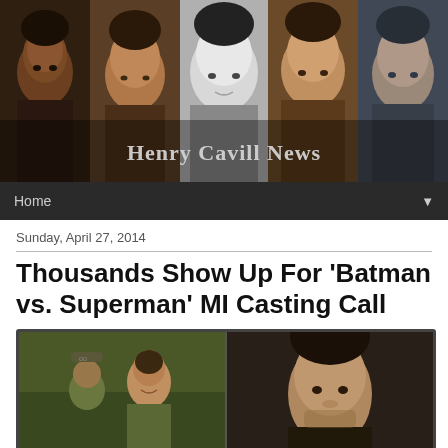[Figure (photo): Henry Cavill News website banner showing five photos of Henry Cavill side by side with the text 'Henry Cavill News' overlaid]
Home ▼
Sunday, April 27, 2014
Thousands Show Up For 'Batman vs. Superman' MI Casting Call
[Figure (photo): Two side-by-side photos: left shows a young man smiling in an outdoor scene, right shows Henry Cavill in a close-up portrait]